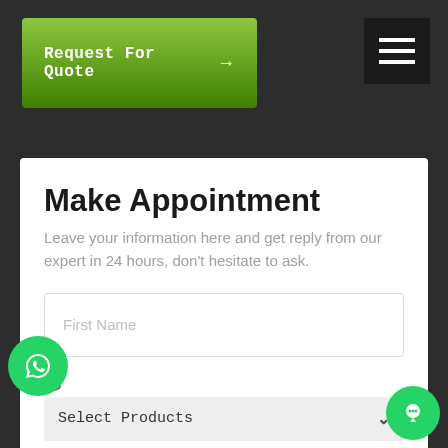Request For Quote →
Make Appointment
Leave your information here and get reply from our expert in 24 hours, don't hesitate to ask.
First Name
Select Products
Phone